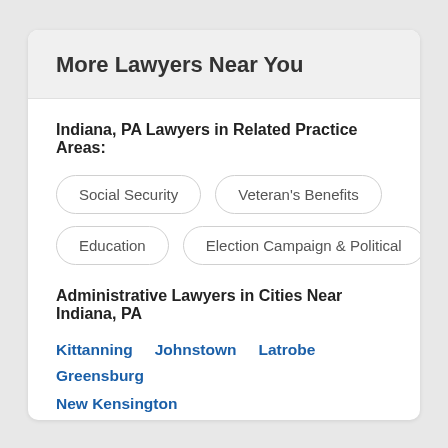More Lawyers Near You
Indiana, PA Lawyers in Related Practice Areas:
Social Security
Veteran's Benefits
Education
Election Campaign & Political
Administrative Lawyers in Cities Near Indiana, PA
Kittanning  Johnstown  Latrobe  Greensburg  New Kensington